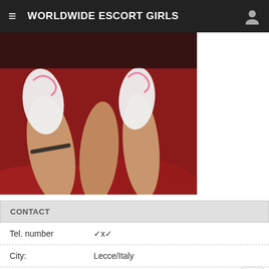WORLDWIDE ESCORT GIRLS
[Figure (photo): Close-up photo of legs on red fabric background, person wearing white stockings with pink design and black anklet]
CONTACT
Tel. number	✓x✓
City:	Lecce/Italy
Last seen:	Today in 13:38
2 days ago:	22:14